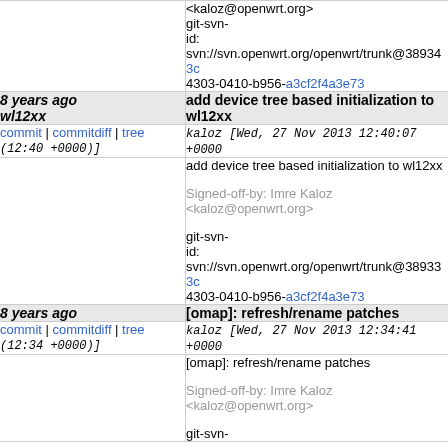<kaloz@openwrt.org> git-svn-id: svn://svn.openwrt.org/openwrt/trunk@38934 3c 4303-0410-b956-a3cf2f4a3e73
8 years ago wl12xx — add device tree based initialization to wl12xx
commit | commitdiff | tree (12:40 +0000)] kaloz [Wed, 27 Nov 2013 12:40:07 +0000
add device tree based initialization to wl12xx
Signed-off-by: Imre Kaloz <kaloz@openwrt.org>
git-svn-id: svn://svn.openwrt.org/openwrt/trunk@38933 3c 4303-0410-b956-a3cf2f4a3e73
8 years ago — [omap]: refresh/rename patches
commit | commitdiff | tree (12:34 +0000)] kaloz [Wed, 27 Nov 2013 12:34:41 +0000
[omap]: refresh/rename patches
Signed-off-by: Imre Kaloz <kaloz@openwrt.org>
git-svn-